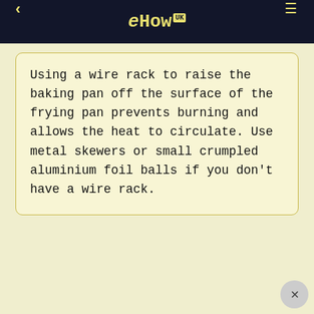eHow UK
Using a wire rack to raise the baking pan off the surface of the frying pan prevents burning and allows the heat to circulate. Use metal skewers or small crumpled aluminium foil balls if you don't have a wire rack.